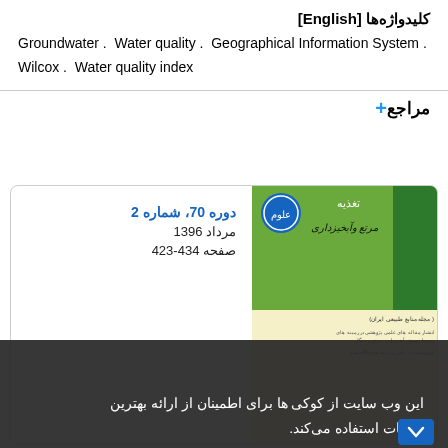کلیدواژه‌ها [English]
Groundwater . Water quality . Geographical Information System . Wilcox . Water quality index
+ مراجع
[Figure (other): Journal cover for an Iranian scientific journal, volume 70, issue 2, Mordad 1396, pages 423-434, with green and cream colored cover design and Persian text]
این وب سایت از کوکی ها برای اطمینان از ارائه بهترین خدمات استفاده می‌کند.
متوجه شدم